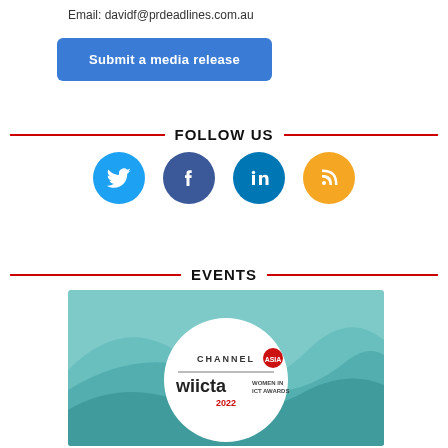Email: davidf@prdeadlines.com.au
Submit a media release
FOLLOW US
[Figure (infographic): Social media icons: Twitter (blue bird), Facebook (dark blue f), LinkedIn (blue in), RSS (orange wifi-like symbol)]
EVENTS
[Figure (illustration): Channel Asia WIICTA Women in ICT Awards 2022 logo on teal wavy background with white circle]